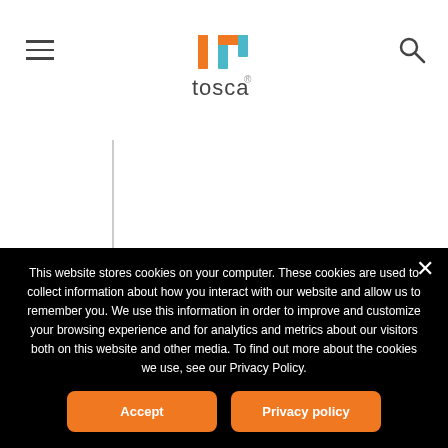tosca
pardot
This website stores cookies on your computer. These cookies are used to collect information about how you interact with our website and allow us to remember you. We use this information in order to improve and customize your browsing experience and for analytics and metrics about our visitors both on this website and other media. To find out more about the cookies we use, see our Privacy Policy.
Accept
Privacy policy